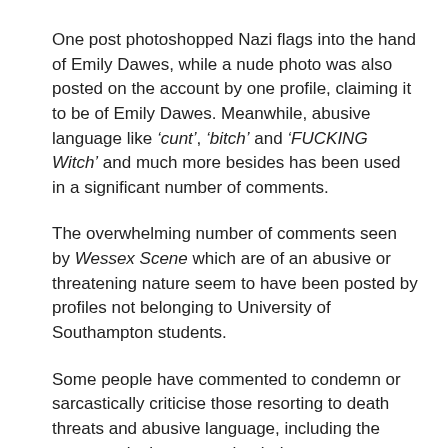One post photoshopped Nazi flags into the hand of Emily Dawes, while a nude photo was also posted on the account by one profile, claiming it to be of Emily Dawes. Meanwhile, abusive language like ‘cunt’, ‘bitch’ and ‘FUCKING Witch’ and much more besides has been used in a significant number of comments.
The overwhelming number of comments seen by Wessex Scene which are of an abusive or threatening nature seem to have been posted by profiles not belonging to University of Southampton students.
Some people have commented to condemn or sarcastically criticise those resorting to death threats and abusive language, including the comment in the screenshot below: